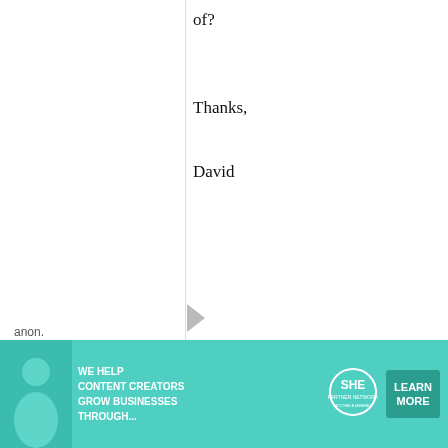of?
Thanks,
David
anon.
25 August, 2009 - 01:44
permalink
Re: Hey,
[Figure (screenshot): Embedded video player showing a dark screen with a play button, progress bar at ~90%, video controls with mute/unmute, time 13:52, CC, grid, settings, and fullscreen buttons.]
This answer from
me is probably
[Figure (photo): Advertisement banner with teal background showing a woman with laptop, text WE HELP CONTENT CREATORS GROW BUSINESSES THROUGH..., SHE Partner Network logo, and LEARN MORE button.]